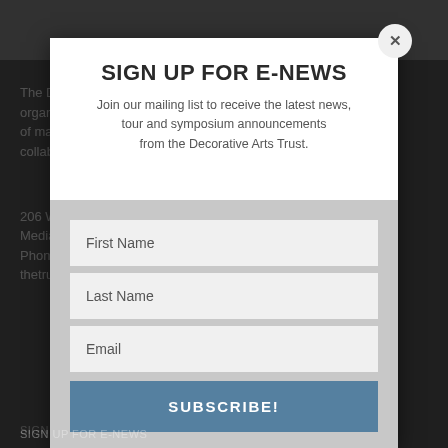SIGN UP FOR E-NEWS
Join our mailing list to receive the latest news, tour and symposium announcements from the Decorative Arts Trust.
First Name
Last Name
Email
SUBSCRIBE!
SIGN UP FOR E-NEWS